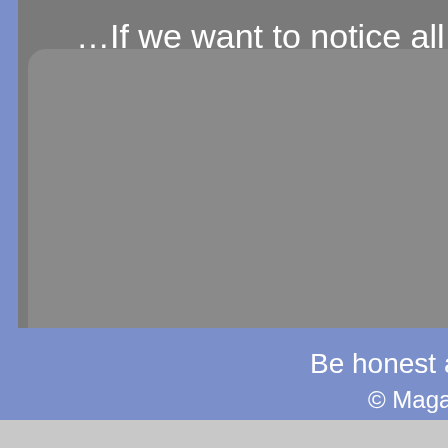…If we want to notice all the universal signals given to us to the cognition and awareness or copulation with the surround then completeness and depth of the events will open up for
Why is Kno
Be honest and show the way for other peo
© Magazine "Spac